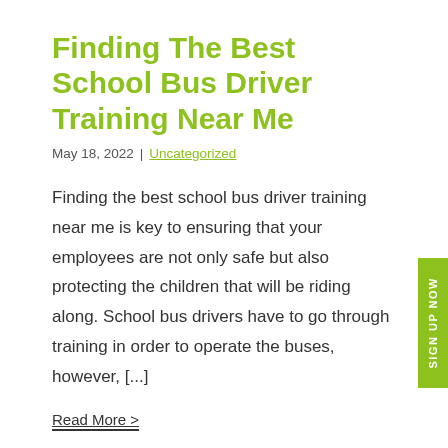Finding The Best School Bus Driver Training Near Me
May 18, 2022  |  Uncategorized
Finding the best school bus driver training near me is key to ensuring that your employees are not only safe but also protecting the children that will be riding along. School bus drivers have to go through training in order to operate the buses, however, [...]
Read More >